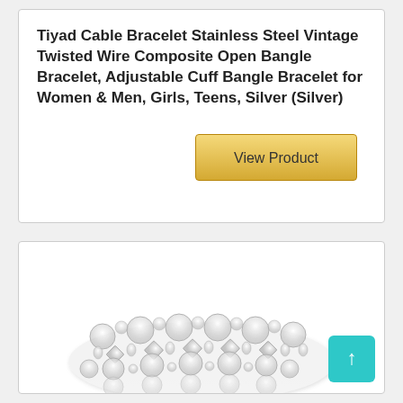Tiyad Cable Bracelet Stainless Steel Vintage Twisted Wire Composite Open Bangle Bracelet, Adjustable Cuff Bangle Bracelet for Women & Men, Girls, Teens, Silver (Silver)
[Figure (other): A golden 'View Product' button on the right side of the top card]
[Figure (photo): A silver rhinestone/crystal wide cuff bracelet with geometric lattice pattern, partially cropped at the bottom of the page. A teal scroll-to-top button is visible in the bottom-right corner.]